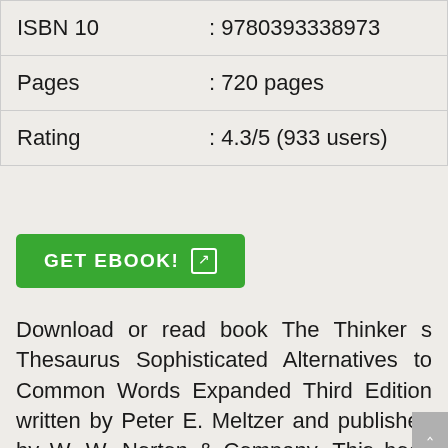| ISBN 10 | : 9780393338973 |
| Pages | : 720 pages |
| Rating | : 4.3/5 (933 users) |
GET EBOOK!
Download or read book The Thinker s Thesaurus Sophisticated Alternatives to Common Words Expanded Third Edition written by Peter E. Meltzer and published by W. W. Norton & Company. This book was released on 2015-08-03 with total page 720 pages. Available in PDF, EPUB and Kindle. Book excerpt: With over twenty